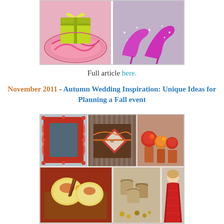[Figure (photo): Collage of two images: left shows a lime green gift box on a swirly pink plate, right shows sparkly purple/magenta high heel shoes]
Full article here.
November 2011 - Autumn Wedding Inspiration: Unique Ideas for Planning a Fall event
[Figure (photo): Collage of autumn wedding inspiration photos: red ornate mirror frame, chocolate brown gift boxes, orange/red flowers in vases, apple candles, burlap favor bags with nuts, woman in red gown, and partial bottom row of food/floral images]